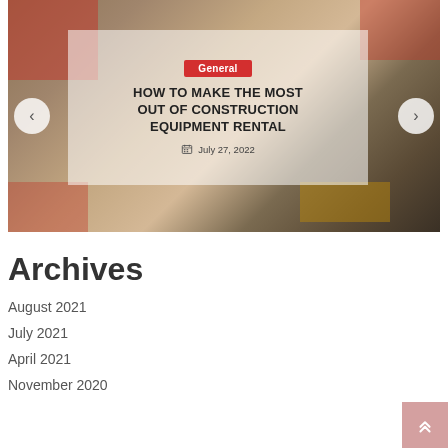[Figure (photo): Construction site photo used as a slider/carousel background showing building materials, scaffolding, and equipment. A semi-transparent white overlay box contains a category badge, article title, and date. Navigation arrows appear on left and right sides.]
Archives
August 2021
July 2021
April 2021
November 2020